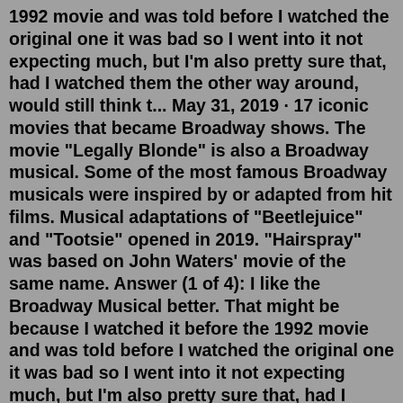1992 movie and was told before I watched the original one it was bad so I went into it not expecting much, but I'm also pretty sure that, had I watched them the other way around, would still think t... May 31, 2019 · 17 iconic movies that became Broadway shows. The movie "Legally Blonde" is also a Broadway musical. Some of the most famous Broadway musicals were inspired by or adapted from hit films. Musical adaptations of "Beetlejuice" and "Tootsie" opened in 2019. "Hairspray" was based on John Waters' movie of the same name. Answer (1 of 4): I like the Broadway Musical better. That might be because I watched it before the 1992 movie and was told before I watched the original one it was bad so I went into it not expecting much, but I'm also pretty sure that, had I watched them the other way around, would still think t... Mar 30, 2012 · Based on a 1992 Disney movie, this production has a book by Harvey Fierstein and music by Alan Menken. Sara Krulwich/The New York Times. Newsies. By Ben Brantley. March 29, 2012. Since our subject